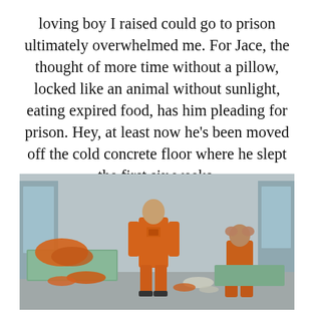loving boy I raised could go to prison ultimately overwhelmed me. For Jace, the thought of more time without a pillow, locked like an animal without sunlight, eating expired food, has him pleading for prison. Hey, at least now he's been moved off the cold concrete floor where he slept the first six weeks.
[Figure (photo): A detention facility room showing inmates in orange jumpsuits. One inmate stands with back turned in the center, another sits on the right side with head in hands. Orange clothing and bedding are scattered on the floor and a cot on the left.]